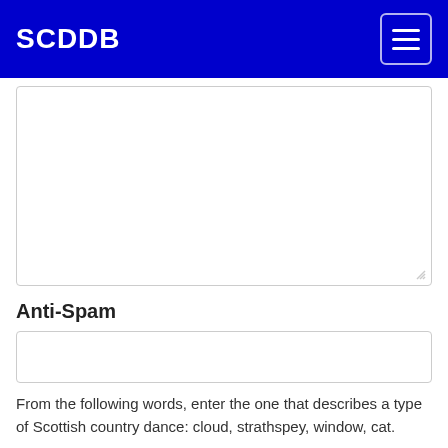SCDDB
[Figure (screenshot): Large empty textarea input field with resize handle]
Anti-Spam
[Figure (screenshot): Single-line text input field for anti-spam answer]
From the following words, enter the one that describes a type of Scottish country dance: cloud, strathspey, window, cat.
Submit Correction/Addition